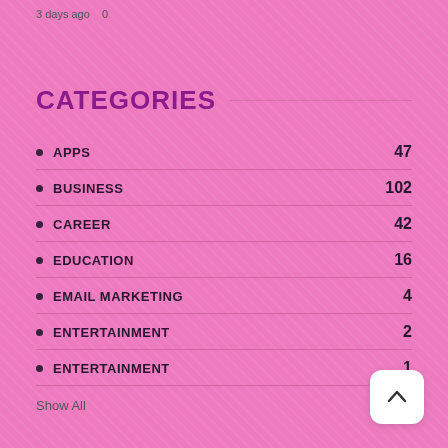3 days ago  0
CATEGORIES
APPS  47
BUSINESS  102
CAREER  42
EDUCATION  16
EMAIL MARKETING  4
ENTERTAINMENT  2
ENTERTAINMENT  1
Show All